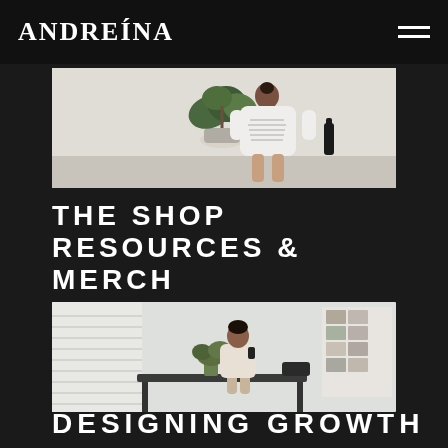ANDREÍNA
[Figure (photo): Woman seen from behind wearing a white oversized shirt with text print, standing near a potted plant and a dark bottle, in a bright minimalist interior]
THE SHOP
RESOURCES & MERCH
[Figure (illustration): Arrow pointing right (horizontal line with arrowhead)]
[Figure (photo): Woman sitting on a desk in a modern studio, holding a phone, with plants and a photo wall in the background]
DESIGNING GROWTH